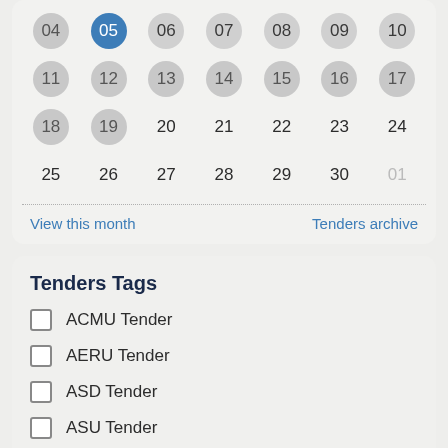[Figure (other): Calendar widget showing days 04-30 and 01, with day 05 highlighted in blue circle, days 11-19 in grey circles, days 20-30 and 25-29 as plain text, and 01 as muted. Bottom links: View this month and Tenders archive.]
View this month
Tenders archive
Tenders Tags
ACMU Tender
AERU Tender
ASD Tender
ASU Tender